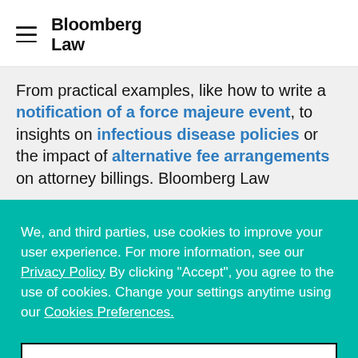Bloomberg Law
From practical examples, like how to write a notification of a force majeure event, to insights on infectious disease policies or the impact of alternative fee arrangements on attorney billings. Bloomberg Law
We, and third parties, use cookies to improve your user experience. For more information, see our Privacy Policy By clicking "Accept", you agree to the use of cookies. Change your settings anytime using our Cookies Preferences.
MANAGE PREFERENCES
ACCEPT